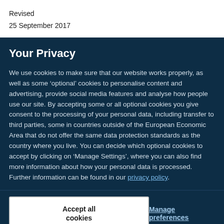Revised
25 September 2017
Your Privacy
We use cookies to make sure that our website works properly, as well as some ‘optional’ cookies to personalise content and advertising, provide social media features and analyse how people use our site. By accepting some or all optional cookies you give consent to the processing of your personal data, including transfer to third parties, some in countries outside of the European Economic Area that do not offer the same data protection standards as the country where you live. You can decide which optional cookies to accept by clicking on ‘Manage Settings’, where you can also find more information about how your personal data is processed. Further information can be found in our privacy policy.
Accept all cookies
Manage preferences